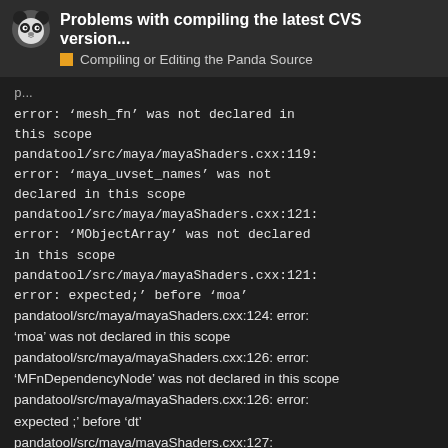Problems with compiling the latest CVS version... — Compiling or Editing the Panda Source
error: 'mesh_fn' was not declared in this scope
pandatool/src/maya/mayaShaders.cxx:119: error: 'maya_uvset_names' was not declared in this scope
pandatool/src/maya/mayaShaders.cxx:121: error: 'MObjectArray' was not declared in this scope
pandatool/src/maya/mayaShaders.cxx:121: error: expected;' before 'moa'
pandatool/src/maya/mayaShaders.cxx:124: error: 'moa' was not declared in this scope
pandatool/src/maya/mayaShaders.cxx:126: error: 'MFnDependencyNode' was not declared in this scope
pandatool/src/maya/mayaShaders.cxx:126: error: expected ;' before 'dt'
pandatool/src/maya/mayaShaders.cxx:127: